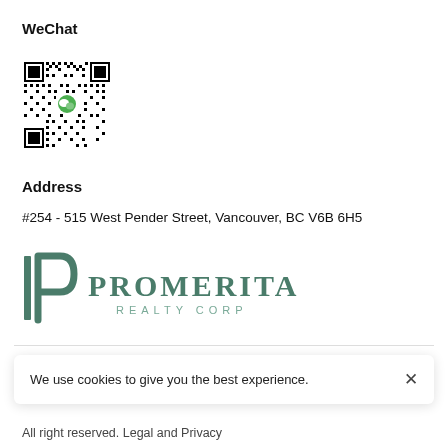WeChat
[Figure (other): WeChat QR code with WeChat logo in the center]
Address
#254 - 515 West Pender Street, Vancouver, BC V6B 6H5
[Figure (logo): Promerita Realty Corp logo with stylized IP monogram and full text]
We use cookies to give you the best experience.
All right reserved. Legal and Privacy